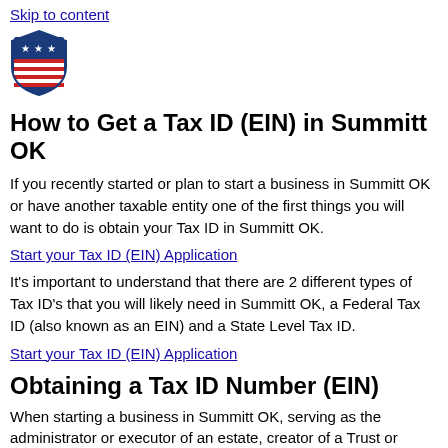Skip to content
[Figure (logo): Government shield logo with stars and stripes]
How to Get a Tax ID (EIN) in Summitt OK
If you recently started or plan to start a business in Summitt OK or have another taxable entity one of the first things you will want to do is obtain your Tax ID in Summitt OK.
Start your Tax ID (EIN) Application
It's important to understand that there are 2 different types of Tax ID's that you will likely need in Summitt OK, a Federal Tax ID (also known as an EIN) and a State Level Tax ID.
Start your Tax ID (EIN) Application
Obtaining a Tax ID Number (EIN)
When starting a business in Summitt OK, serving as the administrator or executor of an estate, creator of a Trust or